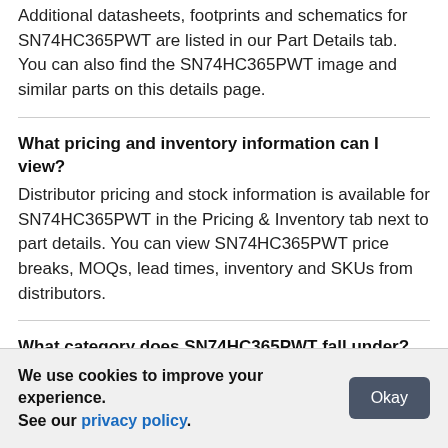Additional datasheets, footprints and schematics for SN74HC365PWT are listed in our Part Details tab. You can also find the SN74HC365PWT image and similar parts on this details page.
What pricing and inventory information can I view?
Distributor pricing and stock information is available for SN74HC365PWT in the Pricing & Inventory tab next to part details. You can view SN74HC365PWT price breaks, MOQs, lead times, inventory and SKUs from distributors.
What category does SN74HC365PWT fall under?
The SN74HC365PWT is listed under Semiconductors - ICs > Logic > Buffers Transceivers & Line Drivers.
We use cookies to improve your experience. See our privacy policy.